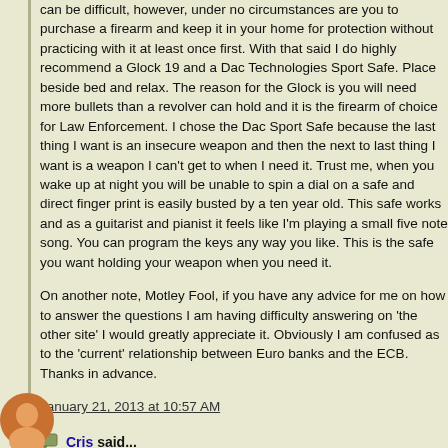can be difficult, however, under no circumstances are you to purchase a firearm and keep it in your home for protection without practicing with it at least once first. With that said I do highly recommend a Glock 19 and a Dac Technologies Sport Safe. Place beside bed and relax. The reason for the Glock is you will need more bullets than a revolver can hold and it is the firearm of choice for Law Enforcement. I chose the Dac Sport Safe because the last thing I want is an insecure weapon and then the next to last thing I want is a weapon I can't get to when I need it. Trust me, when you wake up at night you will be unable to spin a dial on a safe and direct finger print is easily busted by a ten year old. This safe works and as a guitarist and pianist it feels like I'm playing a small five note song. You can program the keys any way you like. This is the safe you want holding your weapon when you need it.
On another note, Motley Fool, if you have any advice for me on how to answer the questions I am having difficulty answering on 'the other site' I would greatly appreciate it. Obviously I am confused as to the 'current' relationship between Euro banks and the ECB. Thanks in advance.
January 21, 2013 at 10:57 AM
Cris said...